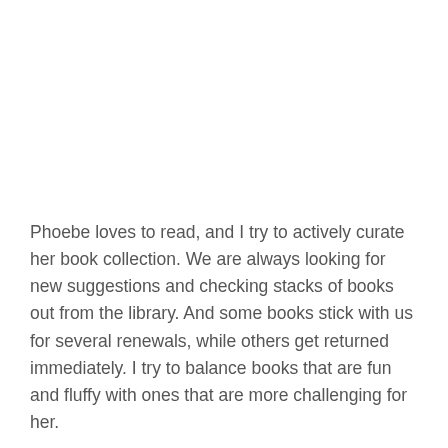Phoebe loves to read, and I try to actively curate her book collection. We are always looking for new suggestions and checking stacks of books out from the library. And some books stick with us for several renewals, while others get returned immediately. I try to balance books that are fun and fluffy with ones that are more challenging for her.